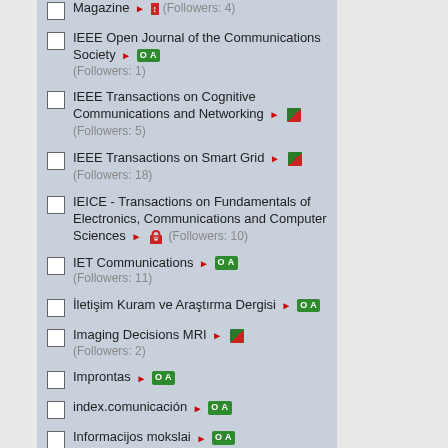Magazine ► (Followers: 4)
IEEE Open Journal of the Communications Society ► OA (Followers: 1)
IEEE Transactions on Cognitive Communications and Networking ► [leaf icon] (Followers: 5)
IEEE Transactions on Smart Grid ► [leaf icon] (Followers: 18)
IEICE - Transactions on Fundamentals of Electronics, Communications and Computer Sciences ► [lock icon] (Followers: 10)
IET Communications ► OA (Followers: 11)
İletişim Kuram ve Araştırma Dergisi ► OA
Imaging Decisions MRI ► [leaf icon] (Followers: 2)
Improntas ► OA
index.comunicación ► OA
Informacijos mokslai ► OA
Informal Logic ► OA